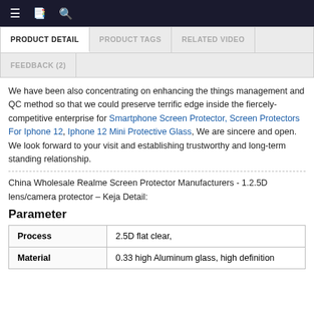≡  📋  🔍
PRODUCT DETAIL   PRODUCT TAGS   RELATED VIDEO   FEEDBACK (2)
We have been also concentrating on enhancing the things management and QC method so that we could preserve terrific edge inside the fiercely-competitive enterprise for Smartphone Screen Protector, Screen Protectors For Iphone 12, Iphone 12 Mini Protective Glass, We are sincere and open. We look forward to your visit and establishing trustworthy and long-term standing relationship.
China Wholesale Realme Screen Protector Manufacturers - 1.2.5D lens/camera protector – Keja Detail:
Parameter
| Process | Material |
| --- | --- |
| 2.5D flat clear, | 0.33 high Aluminum glass, high definition |